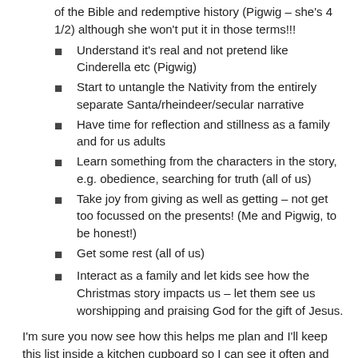of the Bible and redemptive history (Pigwig – she's 4 1/2) although she won't put it in those terms!!!
Understand it's real and not pretend like Cinderella etc (Pigwig)
Start to untangle the Nativity from the entirely separate Santa/rheindeer/secular narrative
Have time for reflection and stillness as a family and for us adults
Learn something from the characters in the story, e.g. obedience, searching for truth (all of us)
Take joy from giving as well as getting – not get too focussed on the presents! (Me and Pigwig, to be honest!)
Get some rest (all of us)
Interact as a family and let kids see how the Christmas story impacts us – let them see us worshipping and praising God for the gift of Jesus.
I'm sure you now see how this helps me plan and I'll keep this list inside a kitchen cupboard so I can see it often and re-focus during Advent.
So now, I work on how I might flesh out these ideas. We won't do them all but here are some ideas I had….